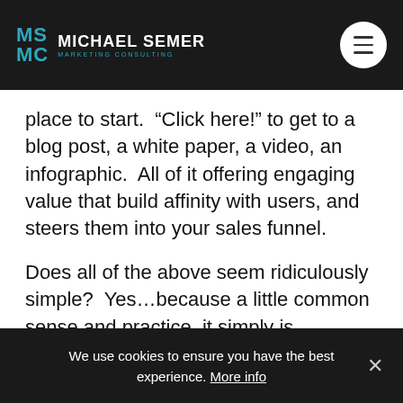MS MC MICHAEL SEMER MARKETING CONSULTING
place to start.  “Click here!” to get to a blog post, a white paper, a video, an infographic.  All of it offering engaging value that build affinity with users, and steers them into your sales funnel.
Does all of the above seem ridiculously simple?  Yes…because a little common sense and practice, it simply is.
We use cookies to ensure you have the best experience. More info